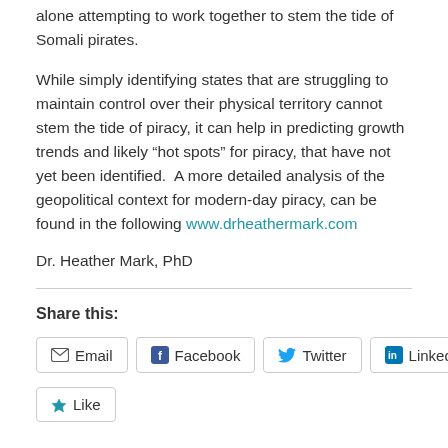alone attempting to work together to stem the tide of Somali pirates.
While simply identifying states that are struggling to maintain control over their physical territory cannot stem the tide of piracy, it can help in predicting growth trends and likely “hot spots” for piracy, that have not yet been identified.  A more detailed analysis of the geopolitical context for modern-day piracy, can be found in the following www.drheathermark.com
Dr. Heather Mark, PhD
Share this:
Email  Facebook  Twitter  LinkedIn
Like